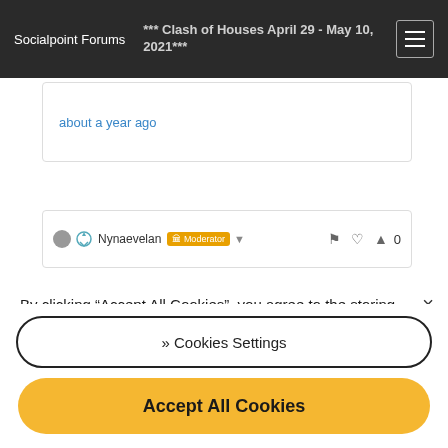Socialpoint Forums
*** Clash of Houses April 29 - May 10, 2021***
about a year ago
Nynaevelan  Moderator
By clicking “Accept All Cookies”, you agree to the storing of cookies on your device to enhance site navigation, analyze site usage, and assist in our marketing efforts.
)› Cookies Settings
Accept All Cookies